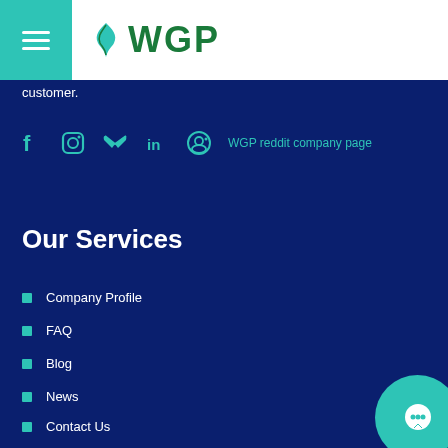WGP
customer.
[Figure (other): Social media icons: Facebook, Instagram, Twitter, LinkedIn, Reddit with text 'WGP reddit company page']
Our Services
Company Profile
FAQ
Blog
News
Contact Us